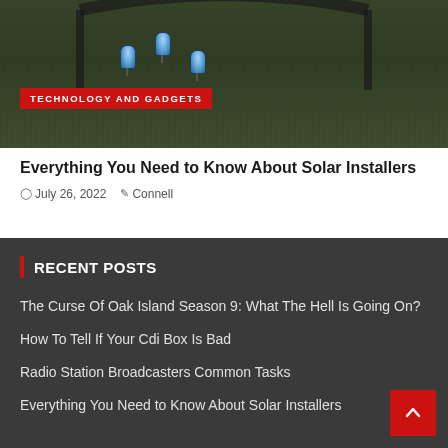[Figure (photo): Photo of solar garden lights on grass at night/dusk with dark overlay]
TECHNOLOGY AND GADGETS
Everything You Need to Know About Solar Installers
July 26, 2022  Connell
RECENT POSTS
The Curse Of Oak Island Season 9: What The Hell Is Going On?
How To Tell If Your Cdi Box Is Bad
Radio Station Broadcasters Common Tasks
Everything You Need to Know About Solar Installers